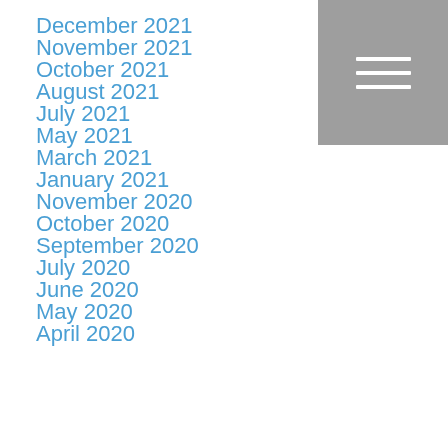December 2021
November 2021
October 2021
August 2021
July 2021
May 2021
March 2021
January 2021
November 2020
October 2020
September 2020
July 2020
June 2020
May 2020
April 2020